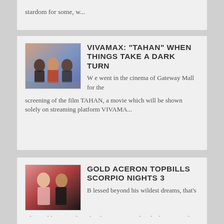stardom for some, w...
VIVAMAX: "TAHAN" WHEN THINGS TAKE A DARK TURN
W e went in the cinema of Gateway Mall for the screening of the film TAHAN, a movie which will be shown solely on streaming platform VIVAMA...
[Figure (photo): Three people posing at what appears to be a press event with colorful background lighting]
GOLD ACERON TOPBILLS SCORPIO NIGHTS 3
B lessed beyond his wildest dreams, that's what Gold Aceron describes his year. He's already done several indie films in the past th...
[Figure (photo): Two people posing together, one in a formal black outfit]